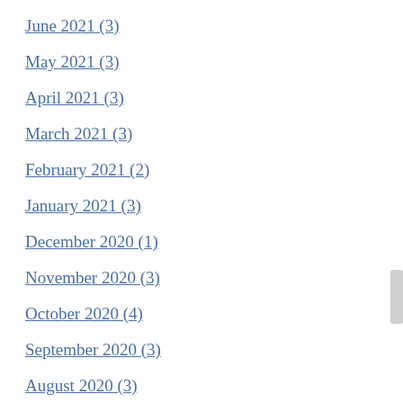June 2021 (3)
May 2021 (3)
April 2021 (3)
March 2021 (3)
February 2021 (2)
January 2021 (3)
December 2020 (1)
November 2020 (3)
October 2020 (4)
September 2020 (3)
August 2020 (3)